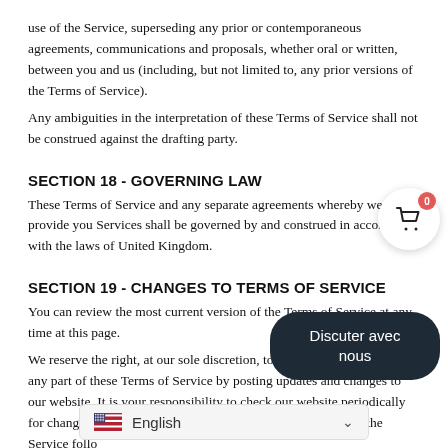use of the Service, superseding any prior or contemporaneous agreements, communications and proposals, whether oral or written, between you and us (including, but not limited to, any prior versions of the Terms of Service).
Any ambiguities in the interpretation of these Terms of Service shall not be construed against the drafting party.
SECTION 18 - GOVERNING LAW
These Terms of Service and any separate agreements whereby we provide you Services shall be governed by and construed in accordance with the laws of United Kingdom.
SECTION 19 - CHANGES TO TERMS OF SERVICE
You can review the most current version of the Terms of Service at any time at this page.
We reserve the right, at our sole discretion, to update, change or replace any part of these Terms of Service by posting updates and changes to our website. It is your responsibility to check our website periodically for changes. Your continued use of or access to our website or the Service follo